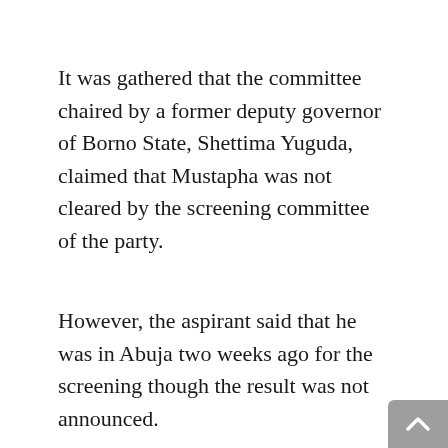It was gathered that the committee chaired by a former deputy governor of Borno State, Shettima Yuguda, claimed that Mustapha was not cleared by the screening committee of the party.
However, the aspirant said that he was in Abuja two weeks ago for the screening though the result was not announced.
He said the Secretary of the primary election committee, Bashir Mohammed, turned him back on Thursday, saying that he was not cleared and as such cannot be given accreditation access to the venue.